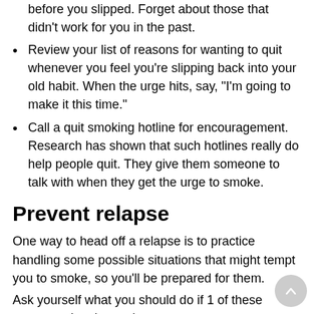before you slipped. Forget about those that didn't work for you in the past.
Review your list of reasons for wanting to quit whenever you feel you're slipping back into your old habit. When the urge hits, say, "I'm going to make it this time."
Call a quit smoking hotline for encouragement. Research has shown that such hotlines really do help people quit. They give them someone to talk with when they get the urge to smoke.
Prevent relapse
One way to head off a relapse is to practice handling some possible situations that might tempt you to smoke, so you'll be prepared for them.
Ask yourself what you should do if 1 of these common situations arises: